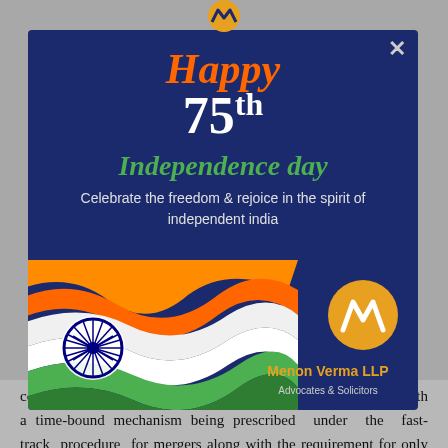[Figure (infographic): Independence Day greeting popup from Menon Verma LLP. Dark navy blue background with text 'Happy 75th Independence Day - Celebrate the freedom & rejoice in the spirit of independent india'. Indian flag SVG illustration with saffron, white and green waves and Ashoka Chakra. Firm logo (orange M) and name at bottom right. Close X button at top right.]
consuming, cumbersome and long-drawn. However, with a time-bound mechanism being prescribed under the fast-track procedure for mergers along with the requirement for only certain